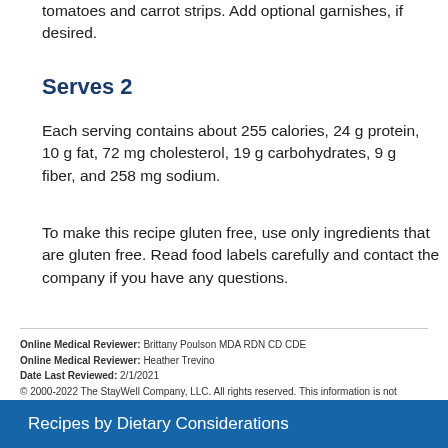tomatoes and carrot strips. Add optional garnishes, if desired.
Serves 2
Each serving contains about 255 calories, 24 g protein, 10 g fat, 72 mg cholesterol, 19 g carbohydrates, 9 g fiber, and 258 mg sodium.
To make this recipe gluten free, use only ingredients that are gluten free. Read food labels carefully and contact the company if you have any questions.
Online Medical Reviewer: Brittany Poulson MDA RDN CD CDE
Online Medical Reviewer: Heather Trevino
Date Last Reviewed: 2/1/2021
© 2000-2022 The StayWell Company, LLC. All rights reserved. This information is not intended as a substitute for professional medical care. Always follow your healthcare professional's instructions.
Recipes by Dietary Considerations